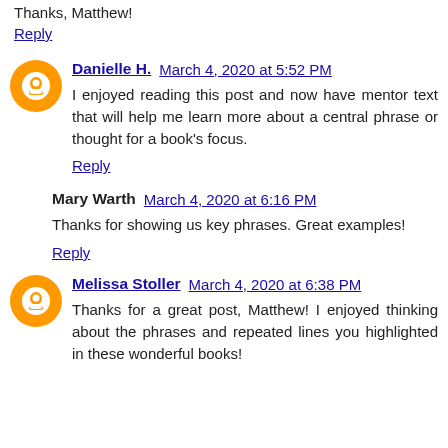Thanks, Matthew!
Reply
Danielle H.  March 4, 2020 at 5:52 PM
I enjoyed reading this post and now have mentor text that will help me learn more about a central phrase or thought for a book's focus.
Reply
Mary Warth  March 4, 2020 at 6:16 PM
Thanks for showing us key phrases. Great examples!
Reply
Melissa Stoller  March 4, 2020 at 6:38 PM
Thanks for a great post, Matthew! I enjoyed thinking about the phrases and repeated lines you highlighted in these wonderful books!